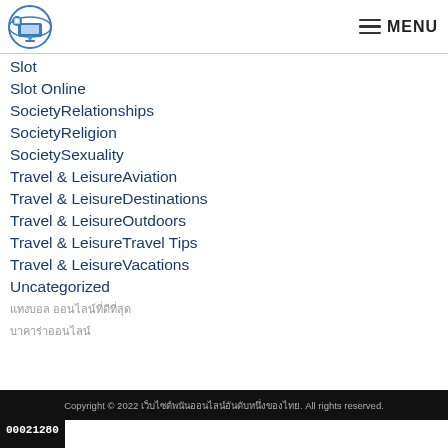MENU
Slot
Slot Online
SocietyRelationships
SocietyReligion
SocietySexuality
Travel & LeisureAviation
Travel & LeisureDestinations
Travel & LeisureOutdoors
Travel & LeisureTravel Tips
Travel & LeisureVacations
Uncategorized
แทงบอล ออนไลน์ที่ดีที่สุด
บาคาร่าออนไลน์
Copyright © 2022 เว็บไซต์พนันออนไลน์อันดับหนึ่งของไทย. All rights reserved.